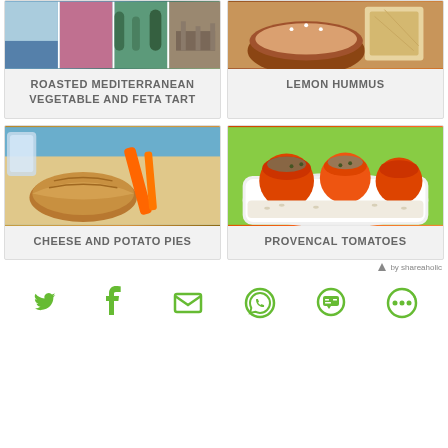[Figure (photo): Roasted Mediterranean Vegetable and Feta Tart - collage of Mediterranean scenes and food photos]
ROASTED MEDITERRANEAN VEGETABLE AND FETA TART
[Figure (photo): Lemon Hummus - brown bowl with hummus and flatbread]
LEMON HUMMUS
[Figure (photo): Cheese and Potato Pies - baked pastry pies with orange utensils]
CHEESE AND POTATO PIES
[Figure (photo): Provencal Tomatoes - stuffed tomatoes in white baking dish on green background]
PROVENCAL TOMATOES
by shareaholic